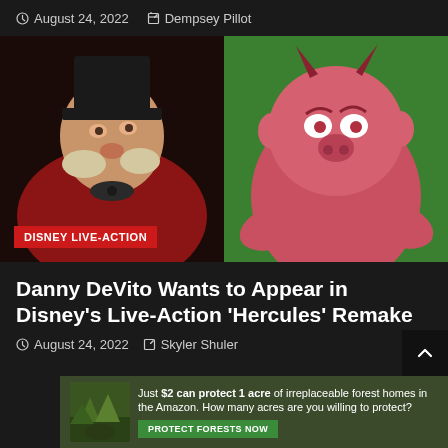August 24, 2022  Dempsey Pillot
[Figure (photo): Split image: left side shows an older man in a top hat and red coat (Danny DeVito); right side shows an animated red demon character (Phil from Hercules) on a green background. A red badge reads DISNEY LIVE-ACTION.]
Danny DeVito Wants to Appear in Disney's Live-Action 'Hercules' Remake
August 24, 2022  Skyler Shuler
[Figure (other): Advertisement banner: forest background with text 'Just $2 can protect 1 acre of irreplaceable forest homes in the Amazon. How many acres are you willing to protect?' with a green PROTECT FORESTS NOW button.]